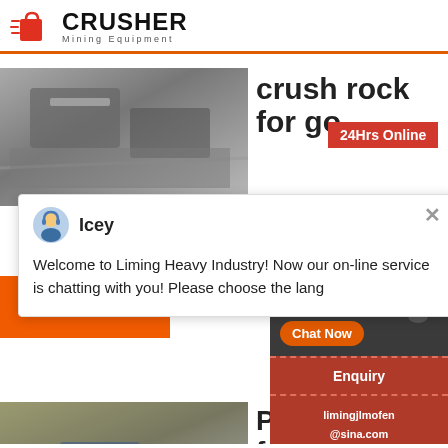CRUSHER Mining Equipment
[Figure (photo): Industrial crusher machinery equipment photo]
crush rock for go
24Hrs Online
[Figure (screenshot): Chat popup with agent Icey. Message: Welcome to Liming Heavy Industry! Now our on-line service is chatting with you! Please choose the lang]
Read More
Need & sugg
1
Chat Now
Enquiry
limingjlmofen@sina.com
[Figure (photo): Mining site with equipment photo]
Prosp for Go